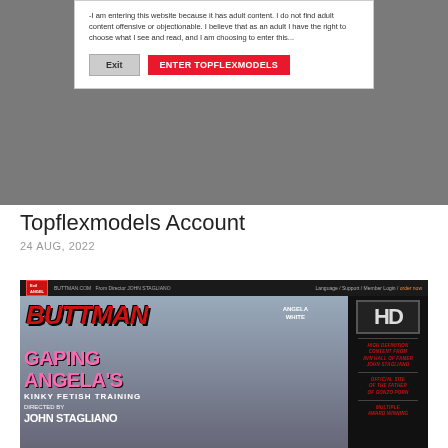[Figure (screenshot): Website age verification modal on a dark grey background. Modal contains text about entering adult content website, with two buttons: 'Exit' (grey) and 'ENTER TOPFLEXMODELS' (red/pink).]
Topflexmodels Account
24 AUG, 2022
[Figure (screenshot): Screenshot of Evil Angel / Buttman website showing movie 'Gaping Angela's Kinky Fetish Training' directed by John Stagliano, featuring Angela White. HD badge visible on right side with red promotional text about high definition content, AVN Hall of Famer John Stagliano, official site of the father of gonzo porn, multiple award winning.]